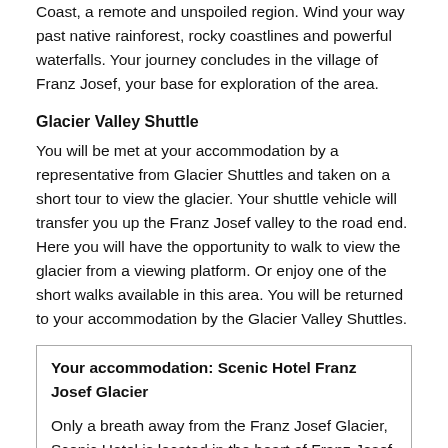Coast, a remote and unspoiled region. Wind your way past native rainforest, rocky coastlines and powerful waterfalls. Your journey concludes in the village of Franz Josef, your base for exploration of the area.
Glacier Valley Shuttle
You will be met at your accommodation by a representative from Glacier Shuttles and taken on a short tour to view the glacier. Your shuttle vehicle will transfer you up the Franz Josef valley to the road end. Here you will have the opportunity to walk to view the glacier from a viewing platform. Or enjoy one of the short walks available in this area. You will be returned to your accommodation by the Glacier Valley Shuttles.
Your accommodation: Scenic Hotel Franz Josef Glacier

Only a breath away from the Franz Josef Glacier, Scenic Hotel is located in the heart of Franz Josef Village. Here you will find all of the amenities you would expect, as well as being close to the shops, restaurants and activities on offer in the beautiful